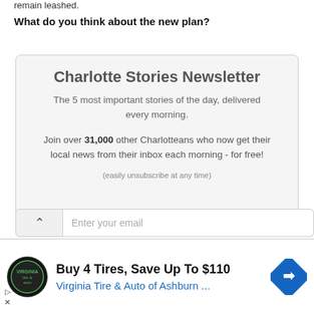remain leashed.
What do you think about the new plan?
[Figure (infographic): Charlotte Stories Newsletter signup box with title, subtitle, join message, unsubscribe note, and email entry field with chevron button]
[Figure (infographic): Advertisement: Buy 4 Tires, Save Up To $110 - Virginia Tire & Auto of Ashburn... with logo and navigation icon]